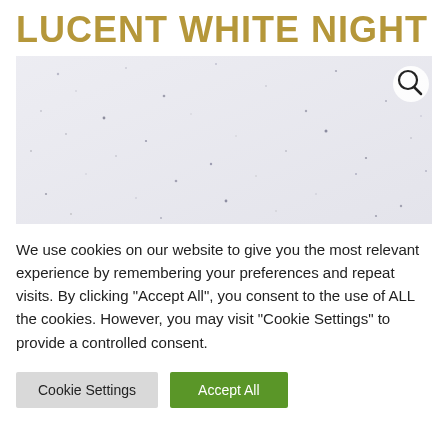LUCENT WHITE NIGHT
[Figure (photo): Close-up photograph of a light grey/white stone or quartz surface with small dark speckles scattered throughout, with a magnifying glass search icon in the top right corner.]
We use cookies on our website to give you the most relevant experience by remembering your preferences and repeat visits. By clicking "Accept All", you consent to the use of ALL the cookies. However, you may visit "Cookie Settings" to provide a controlled consent.